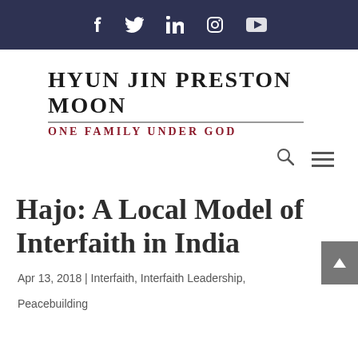Social media icons: Facebook, Twitter, LinkedIn, Instagram, YouTube
Hyun Jin Preston Moon — One Family Under God
Hajo: A Local Model of Interfaith in India
Apr 13, 2018 | Interfaith, Interfaith Leadership, Peacebuilding